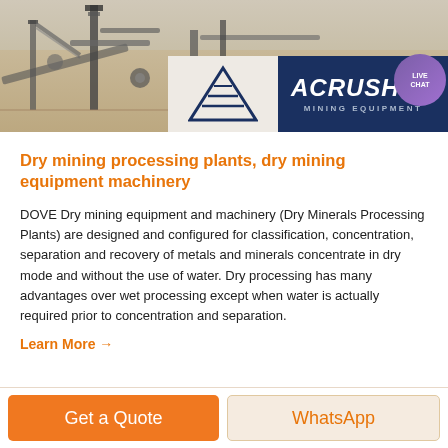[Figure (photo): Mining processing plant with industrial conveyor equipment and machinery on sandy terrain, with ACRUSHER Mining Equipment logo overlay in the bottom right corner]
Dry mining processing plants, dry mining equipment machinery
DOVE Dry mining equipment and machinery (Dry Minerals Processing Plants) are designed and configured for classification, concentration, separation and recovery of metals and minerals concentrate in dry mode and without the use of water. Dry processing has many advantages over wet processing except when water is actually required prior to concentration and separation.
Learn More →